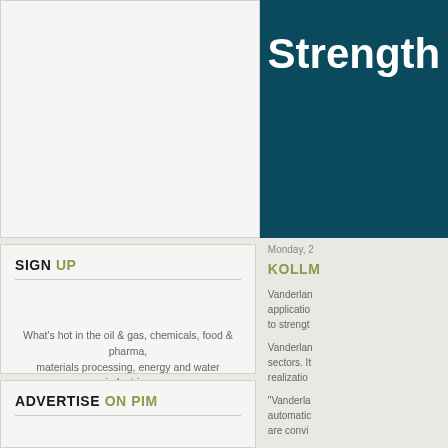[Figure (screenshot): Top banner with teal/dark background showing bold white text 'Strength' partially visible]
SIGN UP
What's hot in the oil & gas, chemicals, food & pharma, materials processing, energy and water industries
Latest Newsletter May 2022
ADVERTISE ON PIM
Monday, 2
KOLLM
Vanderlan application to strengt
Vanderlan sectors. It realizatio
"Vanderla automatic are convi